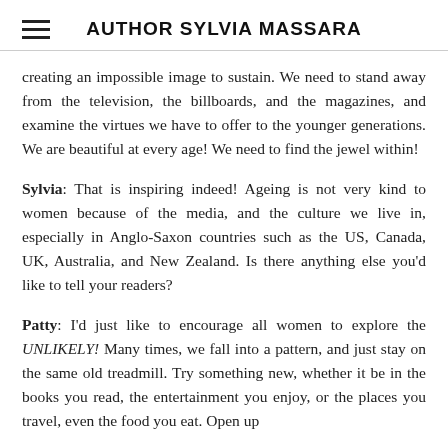AUTHOR SYLVIA MASSARA
creating an impossible image to sustain. We need to stand away from the television, the billboards, and the magazines, and examine the virtues we have to offer to the younger generations. We are beautiful at every age! We need to find the jewel within!
Sylvia: That is inspiring indeed! Ageing is not very kind to women because of the media, and the culture we live in, especially in Anglo-Saxon countries such as the US, Canada, UK, Australia, and New Zealand. Is there anything else you'd like to tell your readers?
Patty: I'd just like to encourage all women to explore the UNLIKELY! Many times, we fall into a pattern, and just stay on the same old treadmill. Try something new, whether it be in the books you read, the entertainment you enjoy, or the places you travel, even the food you eat. Open up